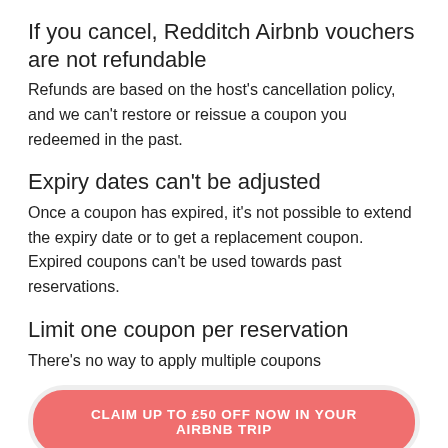If you cancel, Redditch Airbnb vouchers are not refundable
Refunds are based on the host's cancellation policy, and we can't restore or reissue a coupon you redeemed in the past.
Expiry dates can't be adjusted
Once a coupon has expired, it's not possible to extend the expiry date or to get a replacement coupon. Expired coupons can't be used towards past reservations.
Limit one coupon per reservation
There's no way to apply multiple coupons
[Figure (other): Red rounded button with white uppercase text: CLAIM UP TO £50 OFF NOW IN YOUR AIRBNB TRIP]
Get £10 Off Airbnb Experiences